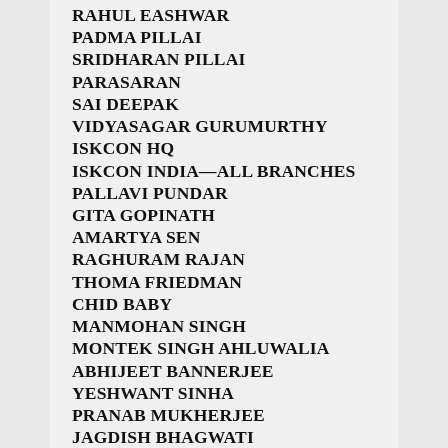RAHUL EASHWAR
PADMA PILLAI
SRIDHARAN PILLAI
PARASARAN
SAI DEEPAK
VIDYASAGAR GURUMURTHY
ISKCON HQ
ISKCON INDIA—ALL BRANCHES
PALLAVI PUNDAR
GITA GOPINATH
AMARTYA SEN
RAGHURAM RAJAN
THOMA FRIEDMAN
CHID BABY
MANMOHAN SINGH
MONTEK SINGH AHLUWALIA
ABHIJEET BANNERJEE
YESHWANT SINHA
PRANAB MUKHERJEE
JAGDISH BHAGWATI
KAUSHIK BASU
ARVIND SUBRAMANIAN